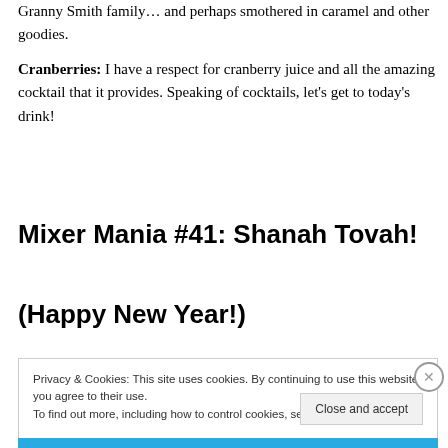Granny Smith family… and perhaps smothered in caramel and other goodies.
Cranberries: I have a respect for cranberry juice and all the amazing cocktail that it provides. Speaking of cocktails, let's get to today's drink!
Mixer Mania #41: Shanah Tovah!
(Happy New Year!)
Privacy & Cookies: This site uses cookies. By continuing to use this website, you agree to their use.
To find out more, including how to control cookies, see here: Cookie Policy